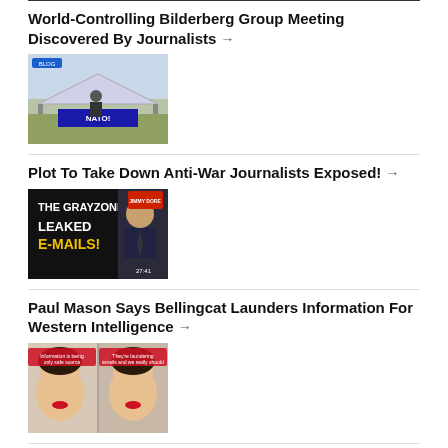World-Controlling Bilderberg Group Meeting Discovered By Journalists →
[Figure (photo): Outdoor protest scene with NATO banner under a canopy tent]
Plot To Take Down Anti-War Journalists Exposed! →
[Figure (photo): The Grayzone video thumbnail showing leaked emails text and man in suit]
Paul Mason Says Bellingcat Launders Information For Western Intelligence →
[Figure (photo): Split screen video thumbnail of a woman with red lips speaking]
Regis Tremblay sums up the Ukrainian War, from its sordid origins to its global consequences →